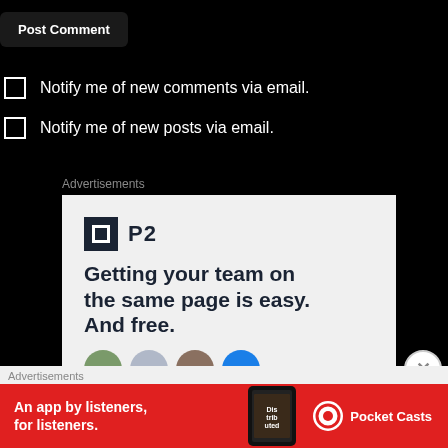Post Comment
Notify me of new comments via email.
Notify me of new posts via email.
Advertisements
[Figure (infographic): P2 advertisement: logo with dark square icon and 'P2' text, headline 'Getting your team on the same page is easy. And free.' with avatar circles at bottom]
Advertisements
[Figure (infographic): Pocket Casts banner ad: red background, white text 'An app by listeners, for listeners.' with phone showing 'Distributed' book cover and Pocket Casts logo]